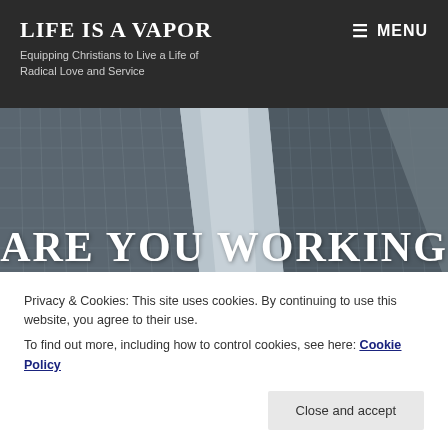LIFE IS A VAPOR
Equipping Christians to Live a Life of Radical Love and Service
MENU
[Figure (photo): Looking up at skyscrapers with glass and steel grid facades against a grey sky — black and white / desaturated architectural photo]
ARE YOU WORKING TOO MUCH?
Privacy & Cookies: This site uses cookies. By continuing to use this website, you agree to their use. To find out more, including how to control cookies, see here: Cookie Policy
Close and accept